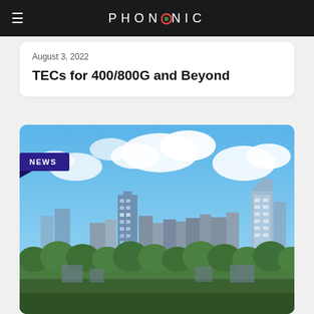PHONONIC
August 3, 2022
TECs for 400/800G and Beyond
[Figure (photo): City skyline photograph showing a modern urban cityscape with tall buildings and skyscrapers against a blue sky with clouds, with green trees in the foreground. A 'NEWS' badge is overlaid in the upper-left corner of the image.]